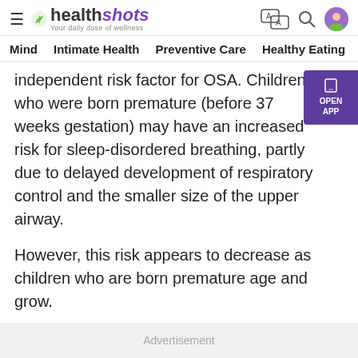healthshots — Your daily dose of wellness
Mind | Intimate Health | Preventive Care | Healthy Eating | F
independent risk factor for OSA. Children who were born premature (before 37 weeks gestation) may have an increased risk for sleep-disordered breathing, partly due to delayed development of respiratory control and the smaller size of the upper airway.
However, this risk appears to decrease as children who are born premature age and grow.
Advertisement